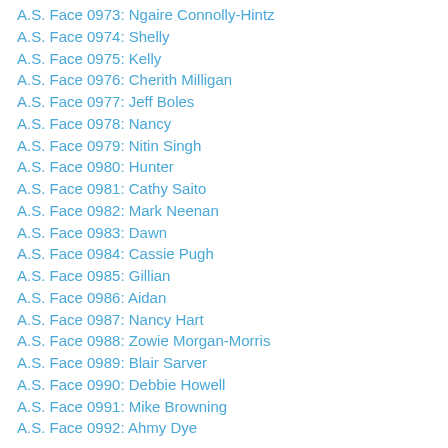A.S. Face 0973: Ngaire Connolly-Hintz
A.S. Face 0974: Shelly
A.S. Face 0975: Kelly
A.S. Face 0976: Cherith Milligan
A.S. Face 0977: Jeff Boles
A.S. Face 0978: Nancy
A.S. Face 0979: Nitin Singh
A.S. Face 0980: Hunter
A.S. Face 0981: Cathy Saito
A.S. Face 0982: Mark Neenan
A.S. Face 0983: Dawn
A.S. Face 0984: Cassie Pugh
A.S. Face 0985: Gillian
A.S. Face 0986: Aidan
A.S. Face 0987: Nancy Hart
A.S. Face 0988: Zowie Morgan-Morris
A.S. Face 0989: Blair Sarver
A.S. Face 0990: Debbie Howell
A.S. Face 0991: Mike Browning
A.S. Face 0992: Ahmy Dye